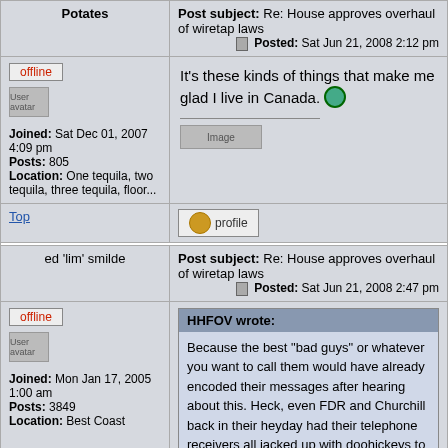| Potates | Post subject: Re: House approves overhaul of wiretap laws | Posted: Sat Jun 21, 2008 2:12 pm |
| --- | --- |
| offline
[User avatar]
Joined: Sat Dec 01, 2007 4:09 pm
Posts: 805
Location: One tequila, two tequila, three tequila, floor... | It's these kinds of things that make me glad I live in Canada. [emoji]
[hr]
[Image] |
| Top | [profile button] |
| ed 'lim' smilde | Post subject: Re: House approves overhaul of wiretap laws | Posted: Sat Jun 21, 2008 2:47 pm |
| --- | --- |
| offline
[User avatar]
Joined: Mon Jan 17, 2005 1:00 am
Posts: 3849
Location: Best Coast | HHFOV wrote:
Because the best "bad guys" or whatever you want to call them would have already encoded their messages after hearing about this. Heck, even FDR and Churchill back in their heyday had their telephone receivers all jacked up with doohickeys to talk |